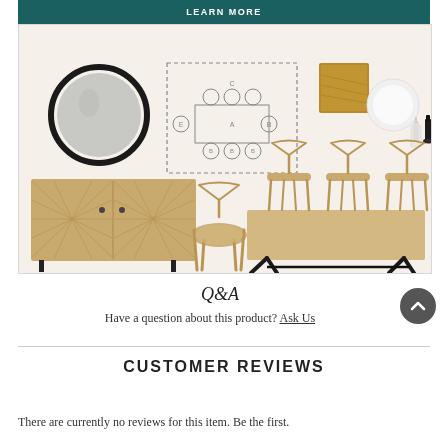LEARN MORE
[Figure (illustration): Interior design mood board showing: round black-framed mirror, room layout diagram, wood swatch, white plate, wall sconces (white and black), wooden sideboard/cabinet with sunburst pattern, wishbone/Y chairs in natural wood, and a dining table with black metal legs.]
Q&A
Have a question about this product? Ask Us
CUSTOMER REVIEWS
There are currently no reviews for this item. Be the first.